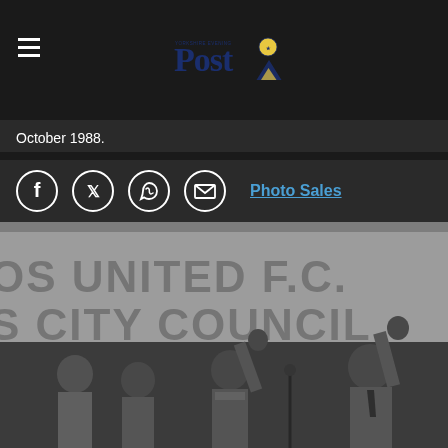Yorkshire Evening Post
October 1988.
[Figure (other): Social media share icons: Facebook, Twitter, WhatsApp, Email, and Photo Sales link]
[Figure (photo): Black and white photograph of men at a rally in front of a banner reading 'LEEDS UNITED F.C. LEEDS CITY COUNCIL'. A man on the right waves to the crowd at a microphone, with others standing beside him.]